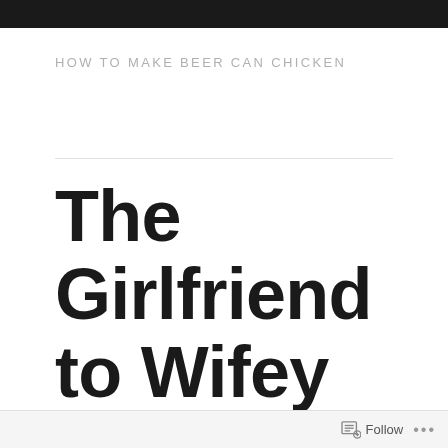HOW TO MAKE BEER CAN CHICKEN
The Girlfriend to Wifey Beer Can Chicken